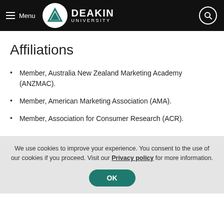Deakin University – Menu / Search header
Affiliations
Member, Australia New Zealand Marketing Academy (ANZMAC).
Member, American Marketing Association (AMA).
Member, Association for Consumer Research (ACR).
We use cookies to improve your experience. You consent to the use of our cookies if you proceed. Visit our Privacy policy for more information.